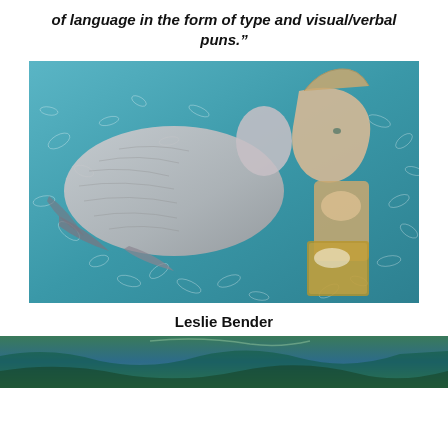of language in the form of type and visual/verbal puns.”
[Figure (photo): Mixed media artwork showing a bird with feathers and a decorative ceramic-style figure of a person against a teal/blue background with white leaf patterns]
Leslie Bender
[Figure (photo): Partial view of another artwork at the bottom of the page with green and blue tones]